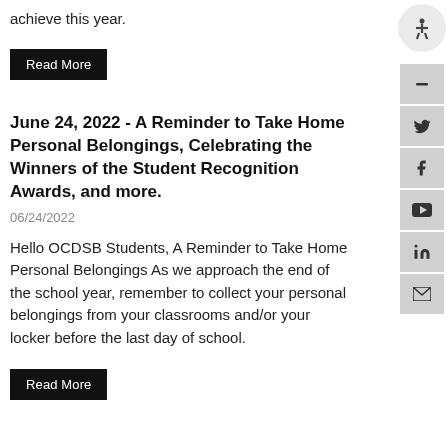achieve this year.
Read More
June 24, 2022 - A Reminder to Take Home Personal Belongings, Celebrating the Winners of the Student Recognition Awards, and more.
06/24/2022
Hello OCDSB Students, A Reminder to Take Home Personal Belongings As we approach the end of the school year, remember to collect your personal belongings from your classrooms and/or your locker before the last day of school.
Read More